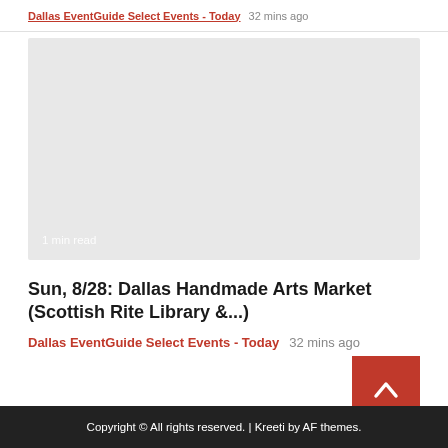Dallas EventGuide Select Events - Today  32 mins ago
[Figure (photo): Gray placeholder image block with '1 min read' label in bottom-left corner]
Sun, 8/28: Dallas Handmade Arts Market (Scottish Rite Library &...)
Dallas EventGuide Select Events - Today  32 mins ago
Copyright © All rights reserved. | Kreeti by AF themes.